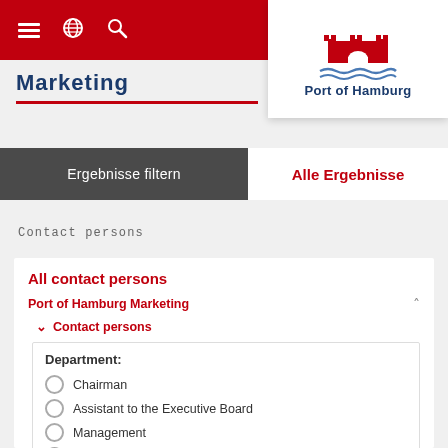Navigation bar with hamburger menu, globe icon, search icon
[Figure (logo): Port of Hamburg logo: red castle/gate icon with wave underneath and 'Port of Hamburg' text in dark blue]
Marketing
Ergebnisse filtern | Alle Ergebnisse
Contact persons
All contact persons
Port of Hamburg Marketing
Contact persons
Department: Chairman, Assistant to the Executive Board, Management, Market Development